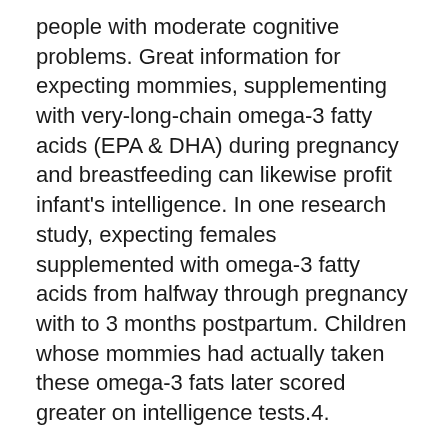people with moderate cognitive problems. Great information for expecting mommies, supplementing with very-long-chain omega-3 fatty acids (EPA & DHA) during pregnancy and breastfeeding can likewise profit infant's intelligence. In one research study, expecting females supplemented with omega-3 fatty acids from halfway through pregnancy with to 3 months postpartum. Children whose mommies had actually taken these omega-3 fats later scored greater on intelligence tests.4.
Joints.
Although fish oil has far-ranging benefits, sustaining joint health is the factor a lot of individuals begin grabbing this supplement.